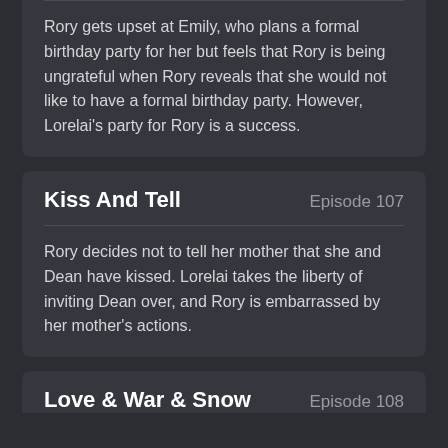Rory gets upset at Emily, who plans a formal birthday party for her but feels that Rory is being ungrateful when Rory reveals that she would not like to have a formal birthday party. However, Lorelai's party for Rory is a success.
Kiss And Tell
Episode 107
Rory decides not to tell her mother that she and Dean have kissed. Lorelai takes the liberty of inviting Dean over, and Rory is embarrassed by her mother's actions.
Love & War & Snow
Episode 108